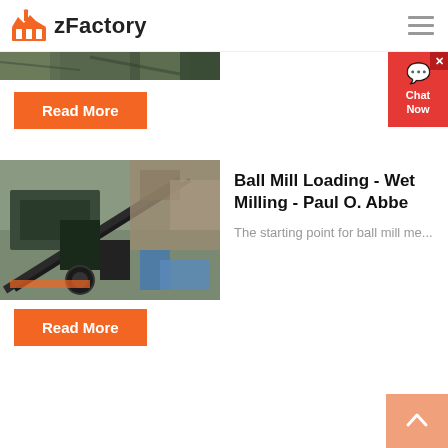zFactory
[Figure (photo): Industrial mining or quarrying machinery, partial view at top of page]
Read More
[Figure (photo): Ball mill or industrial crushing/milling equipment at a quarry or mining site with rocky terrain in the background]
Ball Mill Loading - Wet Milling - Paul O. Abbe
The starting point for ball mill me...
Read More